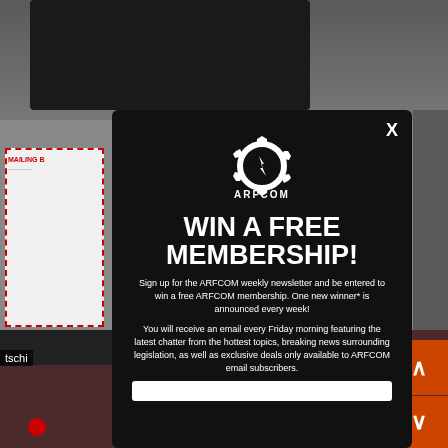[Figure (screenshot): Background website screenshot with dark equipment photo at top, gray sidebar on left with dashed red box, dark right sidebar, and person photo at bottom]
WIN A FREE MEMBERSHIP!
Sign up for the ARFCOM weekly newsletter and be entered to win a free ARFCOM membership. One new winner* is announced every week!
You will receive an email every Friday morning featuring the latest chatter from the hottest topics, breaking news surrounding legislation, as well as exclusive deals only available to ARFCOM email subscribers.